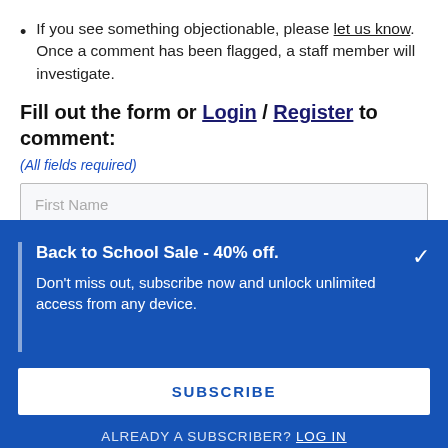If you see something objectionable, please let us know. Once a comment has been flagged, a staff member will investigate.
Fill out the form or Login / Register to comment:
(All fields required)
First Name
Back to School Sale - 40% off.
Don't miss out, subscribe now and unlock unlimited access from any device.
SUBSCRIBE
ALREADY A SUBSCRIBER? LOG IN